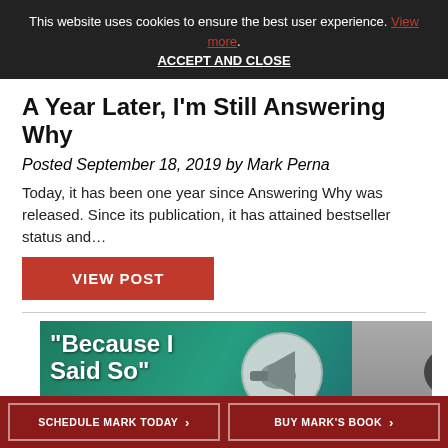This website uses cookies to ensure the best user experience. View more. ACCEPT AND CLOSE
A Year Later, I'm Still Answering Why
Posted September 18, 2019 by Mark Perna
Today, it has been one year since Answering Why was released. Since its publication, it has attained bestseller status and...
VIEW POST
[Figure (illustration): Promotional banner showing text 'Because I Said So' with a megaphone and a person shouting, on a teal/green background. A dark circular back-to-top arrow button is visible on the right.]
SCHEDULE MARK TODAY > | BUY MARK'S BOOK >